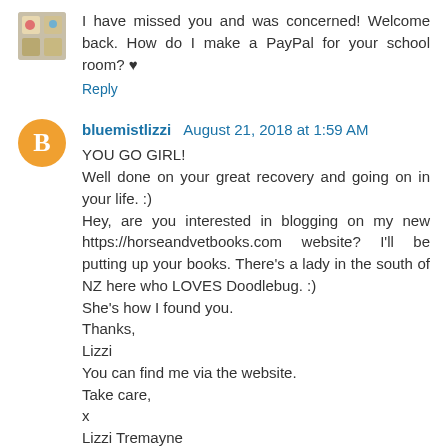I have missed you and was concerned! Welcome back. How do I make a PayPal for your school room? ♥
Reply
bluemistlizzi  August 21, 2018 at 1:59 AM
YOU GO GIRL!
Well done on your great recovery and going on in your life. :)
Hey, are you interested in blogging on my new https://horseandvetbooks.com website? I'll be putting up your books. There's a lady in the south of NZ here who LOVES Doodlebug. :)
She's how I found you.
Thanks,
Lizzi
You can find me via the website.
Take care,
x
Lizzi Tremayne
Reply